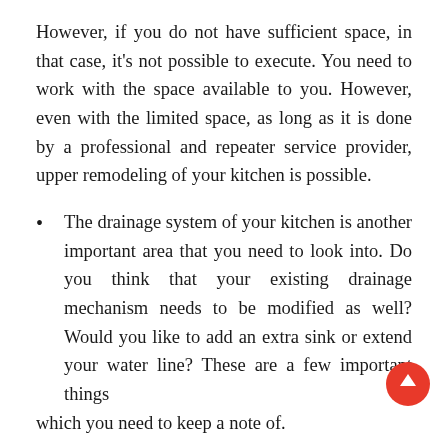However, if you do not have sufficient space, in that case, it's not possible to execute. You need to work with the space available to you. However, even with the limited space, as long as it is done by a professional and repeater service provider, upper remodeling of your kitchen is possible.
The drainage system of your kitchen is another important area that you need to look into. Do you think that your existing drainage mechanism needs to be modified as well? Would you like to add an extra sink or extend your water line? These are a few important things which you need to keep a note of.